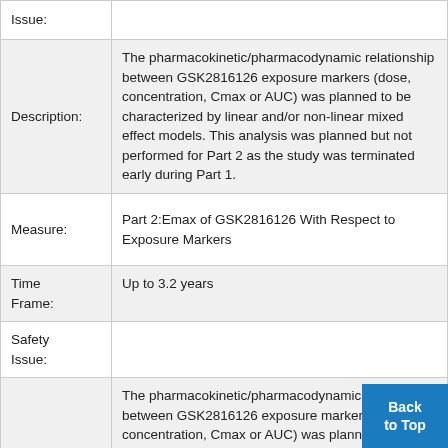| Field | Value |
| --- | --- |
| Issue: |  |
| Description: | The pharmacokinetic/pharmacodynamic relationship between GSK2816126 exposure markers (dose, concentration, Cmax or AUC) was planned to be characterized by linear and/or non-linear mixed effect models. This analysis was planned but not performed for Part 2 as the study was terminated early during Part 1. |
| Measure: | Part 2:Emax of GSK2816126 With Respect to Exposure Markers |
| Time Frame: | Up to 3.2 years |
| Safety Issue: |  |
| Description: | The pharmacokinetic/pharmacodynamic relationship between GSK2816126 exposure markers (dose, concentration, Cmax or AUC) was planned to be characterized by linear and/or non-linear mixe... |